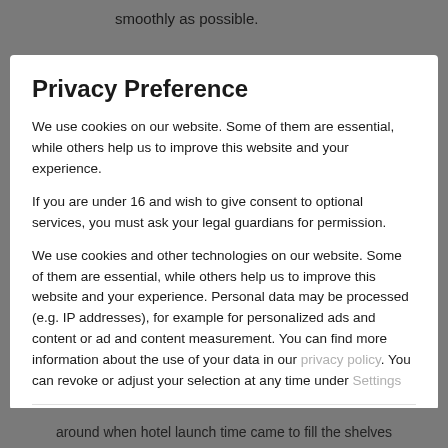smoothly as possible.
Privacy Preference
We use cookies on our website. Some of them are essential, while others help us to improve this website and your experience.
If you are under 16 and wish to give consent to optional services, you must ask your legal guardians for permission.
We use cookies and other technologies on our website. Some of them are essential, while others help us to improve this website and your experience. Personal data may be processed (e.g. IP addresses), for example for personalized ads and content or ad and content measurement. You can find more information about the use of your data in our privacy policy. You can revoke or adjust your selection at any time under Settings
Essential
External Media
Accept all
around when hotel launch time came to fill the shelves